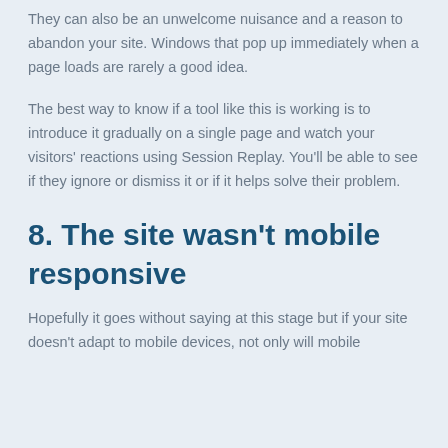They can also be an unwelcome nuisance and a reason to abandon your site. Windows that pop up immediately when a page loads are rarely a good idea.
The best way to know if a tool like this is working is to introduce it gradually on a single page and watch your visitors' reactions using Session Replay. You'll be able to see if they ignore or dismiss it or if it helps solve their problem.
8. The site wasn't mobile responsive
Hopefully it goes without saying at this stage but if your site doesn't adapt to mobile devices, not only will mobile